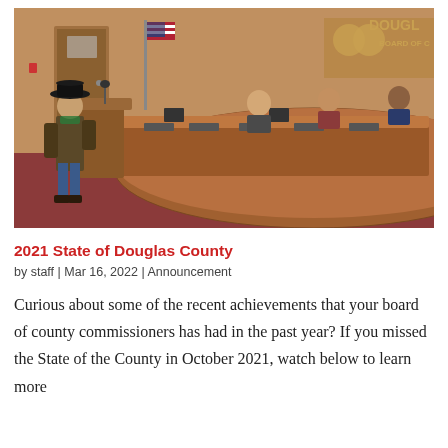[Figure (photo): A man in a black cowboy hat and brown jacket speaks at a podium in a county board of commissioners chamber. Board members are seated at a curved wooden dais. An American flag and a Douglas County Board of Commissioners logo are visible in the background.]
2021 State of Douglas County
by staff | Mar 16, 2022 | Announcement
Curious about some of the recent achievements that your board of county commissioners has had in the past year? If you missed the State of the County in October 2021, watch below to learn more